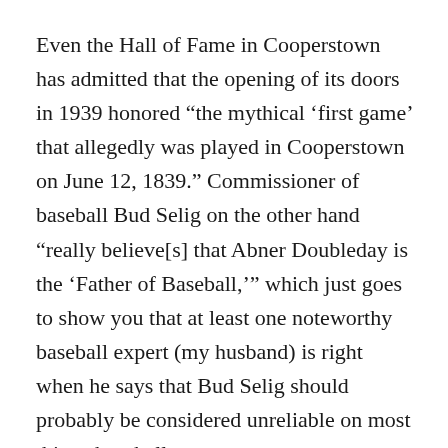Even the Hall of Fame in Cooperstown has admitted that the opening of its doors in 1939 honored “the mythical ‘first game’ that allegedly was played in Cooperstown on June 12, 1839.” Commissioner of baseball Bud Selig on the other hand “really believe[s] that Abner Doubleday is the ‘Father of Baseball,’” which just goes to show you that at least one noteworthy baseball expert (my husband) is right when he says that Bud Selig should probably be considered unreliable on most things baseball.
The first truly concrete evidence of American baseball is from a 1791 ordinance in Pittsfield, Massachusetts banning play of the sport near a community building,